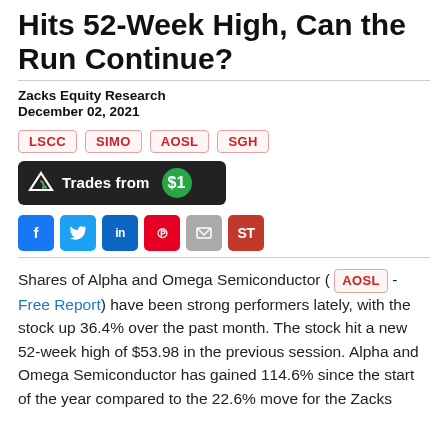Hits 52-Week High, Can the Run Continue?
Zacks Equity Research
December 02, 2021
LSCC  SIMO  AOSL  SGH
[Figure (other): Trades from $1 promotional button with share icon]
[Figure (other): Social sharing buttons: Facebook, Twitter, LinkedIn, Pinterest, Email, ST]
Shares of Alpha and Omega Semiconductor ( AOSL - Free Report ) have been strong performers lately, with the stock up 36.4% over the past month. The stock hit a new 52-week high of $53.98 in the previous session. Alpha and Omega Semiconductor has gained 114.6% since the start of the year compared to the 22.6% move for the Zacks